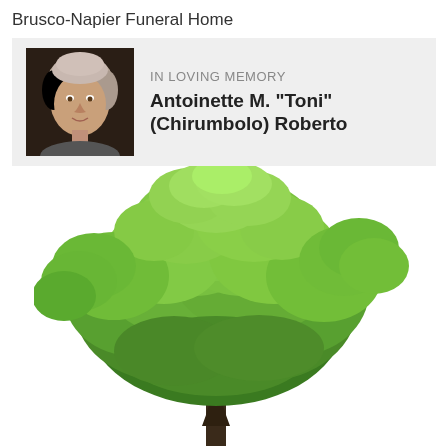Brusco-Napier Funeral Home
IN LOVING MEMORY
Antoinette M. "Toni" (Chirumbolo) Roberto
[Figure (photo): Portrait photo of Antoinette M. Roberto, an older woman with light-colored hair, against a dark background.]
[Figure (photo): Large green deciduous tree with full canopy on a white background, showing trunk and branches at the bottom.]